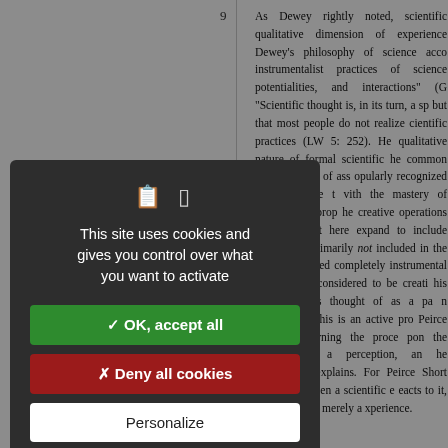9
As Dewey rightly noted, scientific qualitative dimension of experience Dewey's philosophy of science acco instrumentalist practices of science potentialities, and interactions" (G "Scientific thought is, in its turn, a sp but that most people do not realize cientific practices (LW 5: 252). He qualitative nature of formal scientific he common limited "habit of ass opularly recognized forms," while t vith the mastery of symbolic or prop he creative operations involved in t here expand to include anyone who rimarily not included in the realm onsidered completely instrumental ypically not considered to be creati his mistakenly is thought of as a pa n explanation, this is an active pro Peirce stated concerning the proce pon the inquirer is a perception, an he explanation explains. For Peirce Short 2007: 77) When a scientific e eacts to it, and this is not merely a xperience.
This site uses cookies and gives you control over what you want to activate
✓ OK, accept all
✗ Deny all cookies
Personalize
Privacy policy